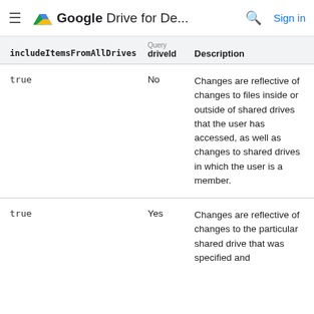≡  Google Drive for De...  🔍  Sign in
| includeItemsFromAllDrives | driveId | Description |
| --- | --- | --- |
| true | No | Changes are reflective of changes to files inside or outside of shared drives that the user has accessed, as well as changes to shared drives in which the user is a member. |
| true | Yes | Changes are reflective of changes to the particular shared drive that was specified and |